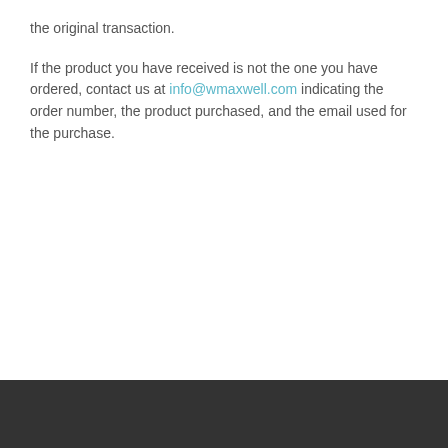the original transaction.
If the product you have received is not the one you have ordered, contact us at info@wmaxwell.com indicating the order number, the product purchased, and the email used for the purchase.